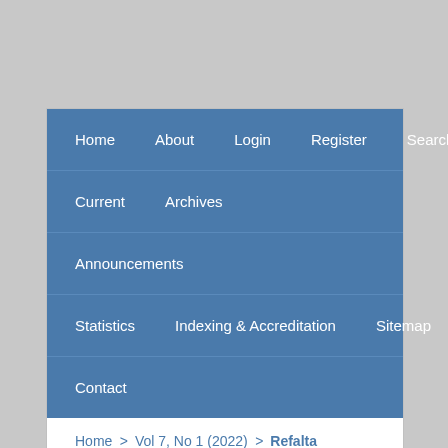Home  About  Login  Register  Search
Current  Archives
Announcements
Statistics  Indexing & Accreditation  Sitemap
Contact
Home > Vol 7, No 1 (2022) > Refalta
Bi...th...l...